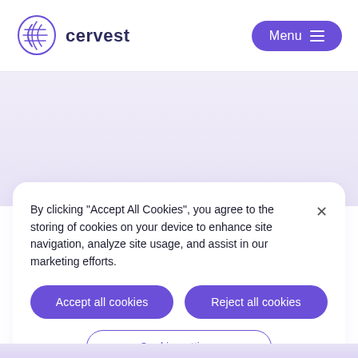cervest | Menu
By clicking "Accept All Cookies", you agree to the storing of cookies on your device to enhance site navigation, analyze site usage, and assist in our marketing efforts.
Accept all cookies
Reject all cookies
Cookie settings